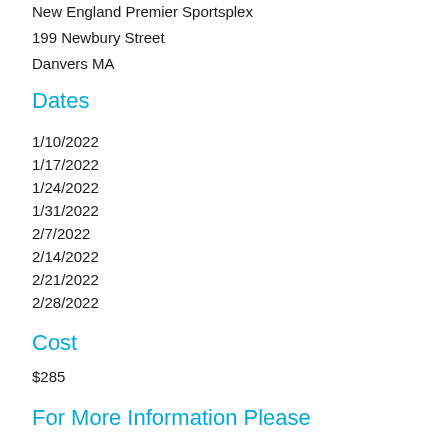New England Premier Sportsplex
199 Newbury Street
Danvers MA
Dates
1/10/2022
1/17/2022
1/24/2022
1/31/2022
2/7/2022
2/14/2022
2/21/2022
2/28/2022
Cost
$285
For More Information Please